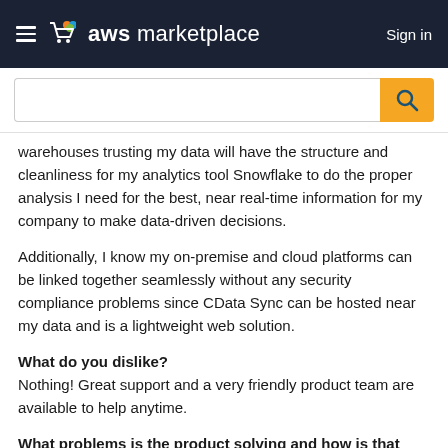aws marketplace   Sign in
warehouses trusting my data will have the structure and cleanliness for my analytics tool Snowflake to do the proper analysis I need for the best, near real-time information for my company to make data-driven decisions.
Additionally, I know my on-premise and cloud platforms can be linked together seamlessly without any security compliance problems since CData Sync can be hosted near my data and is a lightweight web solution.
What do you dislike?
Nothing! Great support and a very friendly product team are available to help anytime.
What problems is the product solving and how is that benefiting you?
There can be errors when replicating tables but logs are easily available to review. The most important thing is to make sure you are aware of the data you are moving and the schema it is coming